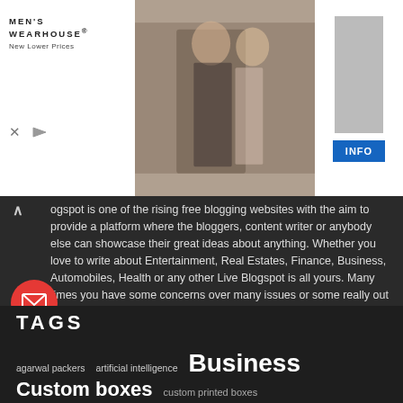[Figure (screenshot): Men's Wearhouse advertisement banner showing a couple in formal wedding attire and a man in a suit, with INFO button]
...ogspot is one of the rising free blogging websites with the aim to provide a platform where the bloggers, content writer or anybody else can showcase their great ideas about anything. Whether you love to write about Entertainment, Real Estates, Finance, Business, Automobiles, Health or any other Live Blogspot is all yours. Many times you have some concerns over many issues or some really out of the box thinking over certain things, ...problem you have is the lack of platform to express your views, Live ...t is specially meant for this purpose only.
So whether you are fresh bloggers or writing since decades we have... platform for you to let the world know what you think. To start bloggin... us you don't need to have technical knowledge as your words are sufficient.
TAGS
agarwal packers
artificial intelligence
Business
Custom boxes
custom printed boxes